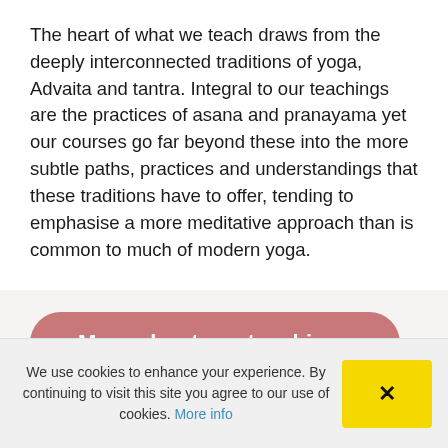The heart of what we teach draws from the deeply interconnected traditions of yoga, Advaita and tantra. Integral to our teachings are the practices of asana and pranayama yet our courses go far beyond these into the more subtle paths, practices and understandings that these traditions have to offer, tending to emphasise a more meditative approach than is common to much of modern yoga.
More about our teachings
We use cookies to enhance your experience. By continuing to visit this site you agree to our use of cookies. More info